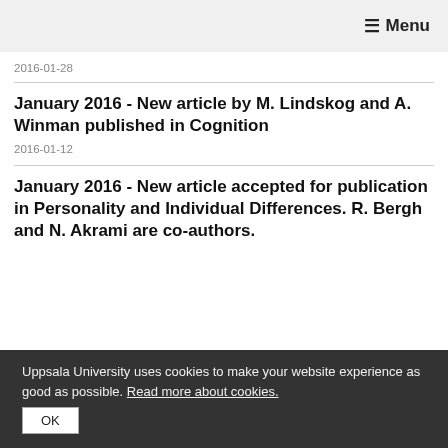≡ Menu
2016-01-28
January 2016 - New article by M. Lindskog and A. Winman published in Cognition
2016-01-12
January 2016 - New article accepted for publication in Personality and Individual Differences. R. Bergh and N. Akrami are co-authors.
Uppsala University uses cookies to make your website experience as good as possible. Read more about cookies.